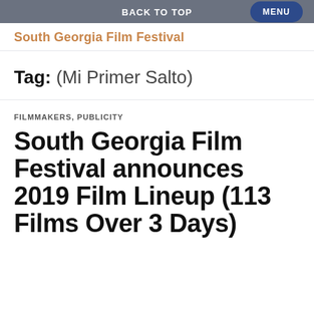BACK TO TOP
South Georgia Film Festival
Tag: (Mi Primer Salto)
FILMMAKERS, PUBLICITY
South Georgia Film Festival announces 2019 Film Lineup (113 Films Over 3 Days)